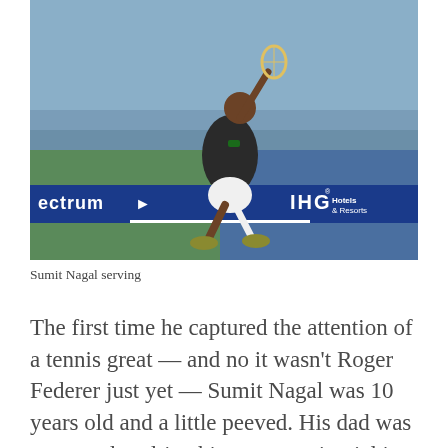[Figure (photo): Sumit Nagal serving during a tennis match at what appears to be the US Open. He is mid-serve in a dark shirt and white shorts, with a crowd and IHG Hotels & Resorts advertisement board visible in the background.]
Sumit Nagal serving
The first time he captured the attention of a tennis great — and no it wasn't Roger Federer just yet — Sumit Nagal was 10 years old and a little peeved. His dad was supposed to drive him to a tennis trial in Delhi, over an hour away by car, but was sick that morning and couldn't. Nagal and his mom would have to take the bus